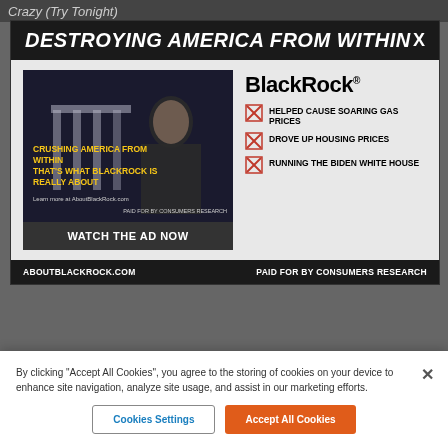Crazy (Try Tonight)
DESTROYING AMERICA FROM WITHIN
[Figure (screenshot): Video thumbnail showing a man in front of the White House with text overlay 'CRUSHING AMERICA FROM WITHIN THAT'S WHAT BLACKROCK IS REALLY ABOUT' with 'WATCH THE AD NOW' button]
BlackRock
HELPED CAUSE SOARING GAS PRICES
DROVE UP HOUSING PRICES
RUNNING THE BIDEN WHITE HOUSE
ABOUTBLACKROCK.COM   PAID FOR BY CONSUMERS RESEARCH
By clicking "Accept All Cookies", you agree to the storing of cookies on your device to enhance site navigation, analyze site usage, and assist in our marketing efforts.
Cookies Settings
Accept All Cookies